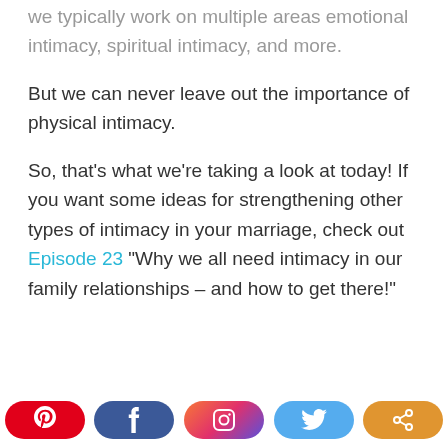we typically work on multiple areas emotional intimacy, spiritual intimacy, and more.
But we can never leave out the importance of physical intimacy.
So, that's what we're taking a look at today! If you want some ideas for strengthening other types of intimacy in your marriage, check out Episode 23 "Why we all need intimacy in our family relationships – and how to get there!"